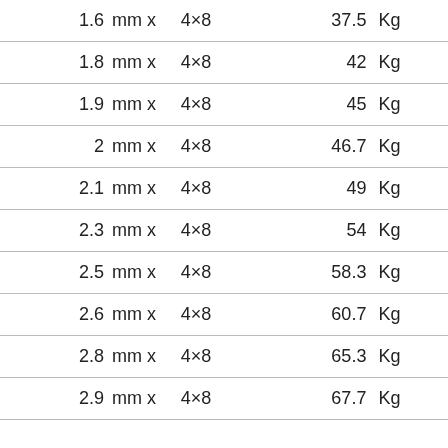| Size | Unit | Dimension | Weight | Unit |
| --- | --- | --- | --- | --- |
| 1.6 | mm x | 4×8 | 37.5 | Kg |
| 1.8 | mm x | 4×8 | 42 | Kg |
| 1.9 | mm x | 4×8 | 45 | Kg |
| 2 | mm x | 4×8 | 46.7 | Kg |
| 2.1 | mm x | 4×8 | 49 | Kg |
| 2.3 | mm x | 4×8 | 54 | Kg |
| 2.5 | mm x | 4×8 | 58.3 | Kg |
| 2.6 | mm x | 4×8 | 60.7 | Kg |
| 2.8 | mm x | 4×8 | 65.3 | Kg |
| 2.9 | mm x | 4×8 | 67.7 | Kg |